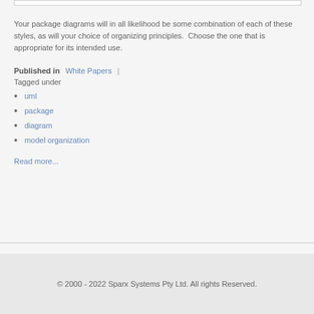Your package diagrams will in all likelihood be some combination of each of these styles, as will your choice of organizing principles.  Choose the one that is appropriate for its intended use.
Published in  White Papers  |  Tagged under
uml
package
diagram
model organization
Read more...
© 2000 - 2022 Sparx Systems Pty Ltd. All rights Reserved.